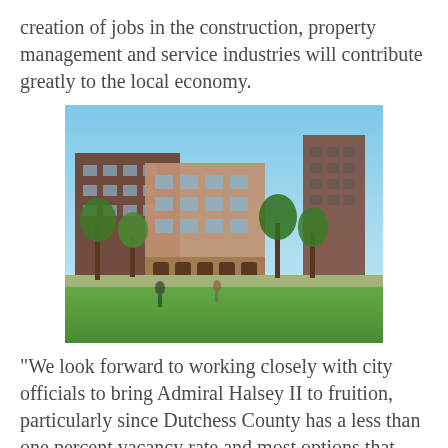creation of jobs in the construction, property management and service industries will contribute greatly to the local economy.
[Figure (photo): Architectural rendering of the Admiral Halsey II multi-story residential building complex with brick facade, surrounded by trees and a green plaza area.]
“We look forward to working closely with city officials to bring Admiral Halsey II to fruition, particularly since Dutchess County has a less than one percent vacancy rate and most options that exist are cost-prohibitive for seniors,” said Omni New